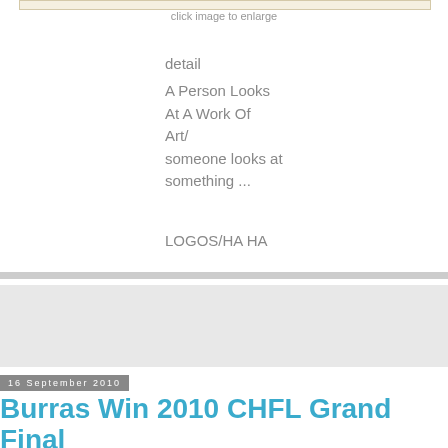[Figure (photo): Partial image placeholder at top of page, with tan/beige border]
click image to enlarge
detail
A Person Looks At A Work Of Art/ someone looks at something ...
LOGOS/HA HA
[Figure (other): Gray rectangular block, likely an advertisement or image placeholder]
16 September 2010
Burras Win 2010 CHFL Grand Final